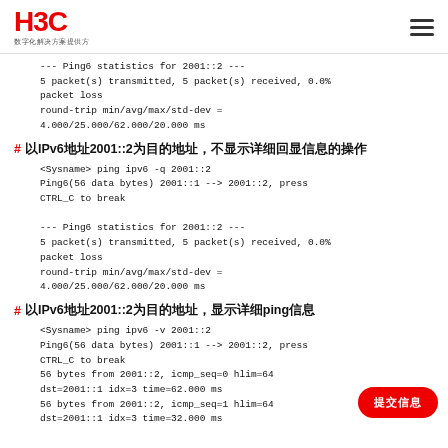H3C 数字化解决方案提供方
--- Ping6 statistics for 2001::2 ---
5 packet(s) transmitted, 5 packet(s) received, 0.0% packet loss
round-trip min/avg/max/std-dev =
4.000/25.000/62.000/20.000 ms
# 以IPv6地址2001::2为目的地址，不显示详细回显信息的操作
<Sysname> ping ipv6 -q 2001::2
Ping6(56 data bytes) 2001::1 --> 2001::2, press
CTRL_C to break

--- Ping6 statistics for 2001::2 ---
5 packet(s) transmitted, 5 packet(s) received, 0.0% packet loss
round-trip min/avg/max/std-dev =
4.000/25.000/62.000/20.000 ms
# 以IPv6地址2001::2为目的地址，显示详细ping信息
<Sysname> ping ipv6 -v 2001::2
Ping6(56 data bytes) 2001::1 --> 2001::2, press
CTRL_C to break
56 bytes from 2001::2, icmp_seq=0 hlim=64
dst=2001::1 idx=3 time=62.000 ms
56 bytes from 2001::2, icmp_seq=1 hlim=64
dst=2001::1 idx=3 time=32.000 ms